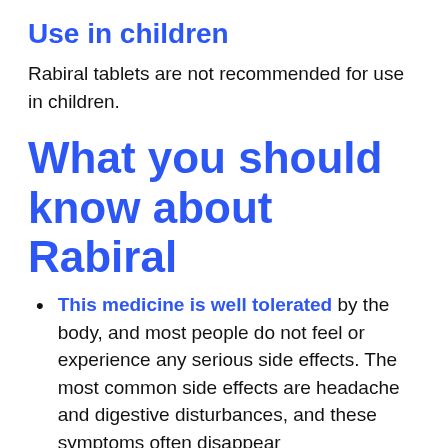Use in children
Rabiral tablets are not recommended for use in children.
What you should know about Rabiral
This medicine is well tolerated by the body, and most people do not feel or experience any serious side effects. The most common side effects are headache and digestive disturbances, and these symptoms often disappear